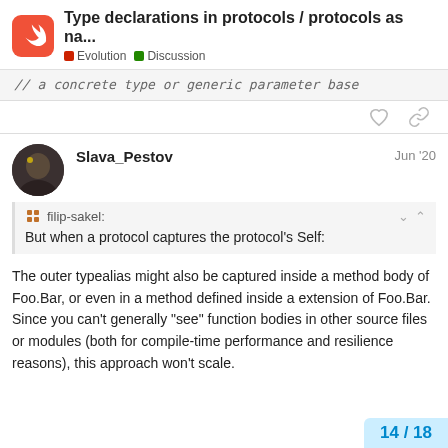Type declarations in protocols / protocols as na... | Evolution | Discussion
// a concrete type or generic parameter base
Slava_Pestov   Jun '20
filip-sakel:
But when a protocol captures the protocol's Self:
The outer typealias might also be captured inside a method body of Foo.Bar, or even in a method defined inside a extension of Foo.Bar. Since you can't generally "see" function bodies in other source files or modules (both for compile-time performance and resilience reasons), this approach won't scale.
14 / 18